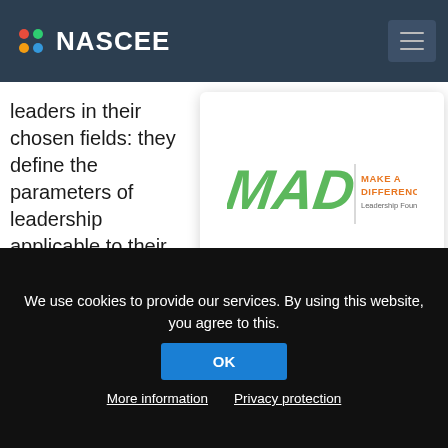NASCEE
develop carefully leaders in their chosen fields: they define the parameters of leadership applicable to their lives, but all scholars are expected to step forward whenever there is a need to drive positive change.
[Figure (logo): Make A Difference (MAD) Leadership Foundation logo - green stylized MAD lettering with MAKE A DIFFERENCE text in orange and Leadership Foundation in grey]
We see our role as: Bridging the opportunity gap between marginalised talented youth and opportunities for a quality education at South African most celebrated universities, administering the
We use cookies to provide our services. By using this website, you agree to this.
OK
More information   Privacy protection